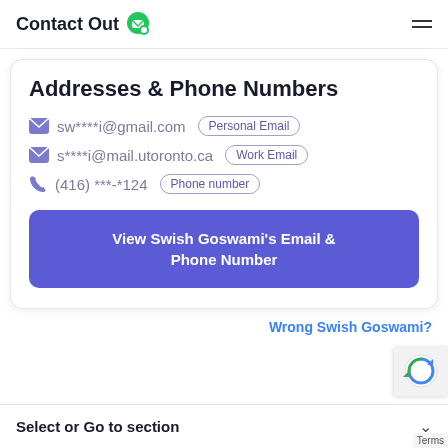ContactOut
Addresses & Phone Numbers
sw****i@gmail.com  Personal Email
s****i@mail.utoronto.ca  Work Email
(416) ***-*124  Phone number
View Swish Goswami's Email & Phone Number
Wrong Swish Goswami?
Select or Go to section